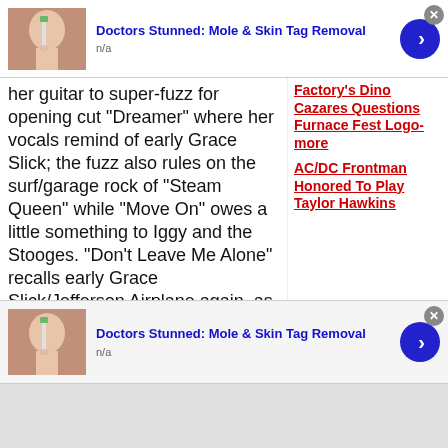[Figure (screenshot): Ad banner top: thumbnail of person shaving face with toothbrush, title 'Doctors Stunned: Mole & Skin Tag Removal', subtitle 'n/a', blue arrow button, gray X close button]
her guitar to super-fuzz for opening cut "Dreamer" where her vocals remind of early Grace Slick; the fuzz also rules on the surf/garage rock of "Steam Queen" while "Move On" owes a little something to Iggy and the Stooges. "Don't Leave Me Alone" recalls early Grace Slick/Jefferson Airplane again, as does "Floating Alice" which is clearly on
Factory's Dino Cazares Questions Furnace Fest Logo- more

AC/DC Frontman Honored To Play Taylor Hawkins
[Figure (screenshot): Ad banner bottom: thumbnail of person shaving face with toothbrush, title 'Doctors Stunned: Mole & Skin Tag Removal', subtitle 'n/a', blue arrow button, gray X close button]